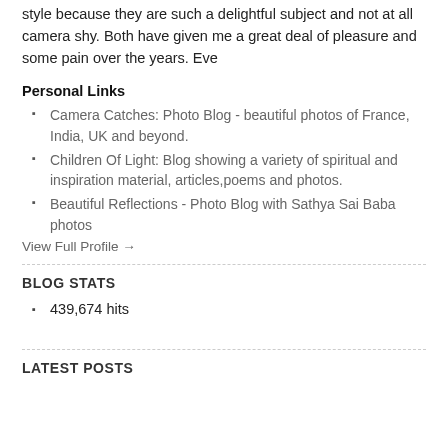style because they are such a delightful subject and not at all camera shy. Both have given me a great deal of pleasure and some pain over the years. Eve
Personal Links
Camera Catches: Photo Blog - beautiful photos of France, India, UK and beyond.
Children Of Light: Blog showing a variety of spiritual and inspiration material, articles,poems and photos.
Beautiful Reflections - Photo Blog with Sathya Sai Baba photos
View Full Profile →
BLOG STATS
439,674 hits
LATEST POSTS